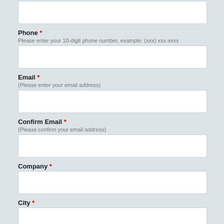[Figure (screenshot): Top of page showing a partial empty text input field (cropped at top)]
Phone *
Please enter your 10-digit phone number, example: (xxx) xxx-xxxx
[Figure (screenshot): Empty phone input field]
Email *
(Please enter your email address)
[Figure (screenshot): Empty email input field]
Confirm Email *
(Please confirm your email address)
[Figure (screenshot): Empty confirm email input field]
Company *
[Figure (screenshot): Empty company input field]
City *
[Figure (screenshot): Empty city input field]
State *
[Figure (screenshot): Partial state dropdown showing 'Choose State']